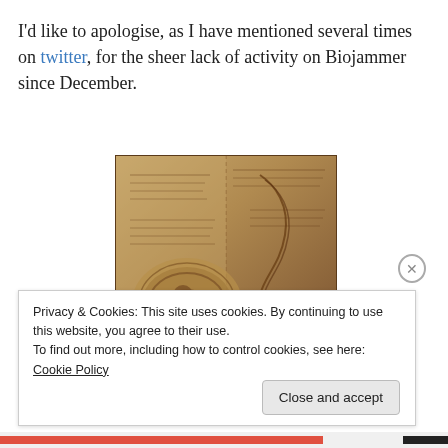I'd like to apologise, as I have mentioned several times on twitter, for the sheer lack of activity on Biojammer since December.
[Figure (illustration): Historical anatomical illustration resembling a Leonardo da Vinci notebook page showing a fetus in the womb along with handwritten notes and anatomical sketches on aged parchment.]
Privacy & Cookies: This site uses cookies. By continuing to use this website, you agree to their use.
To find out more, including how to control cookies, see here: Cookie Policy
Close and accept